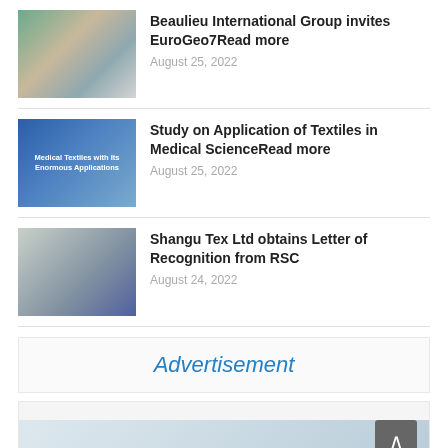[Figure (photo): Thumbnail image with natural and industrial elements (rocks, water, machinery)]
Beaulieu International Group invites EuroGeo7Read more
August 25, 2022
[Figure (photo): Medical textiles image with text overlay: Medical Textiles with Its Enormous Applications]
Study on Application of Textiles in Medical ScienceRead more
August 25, 2022
[Figure (photo): Three people posing together, one holding an award plaque]
Shangu Tex Ltd obtains Letter of Recognition from RSC
August 24, 2022
Advertisement